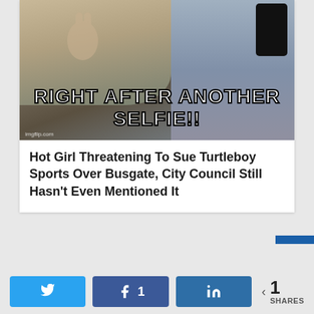[Figure (photo): Meme image of a person taking a selfie with text overlay reading 'RIGHT AFTER ANOTHER SELFIE!!' with imgflip.com watermark]
Hot Girl Threatening To Sue Turtleboy Sports Over Busgate, City Council Still Hasn't Even Mentioned It
< 1 SHARES